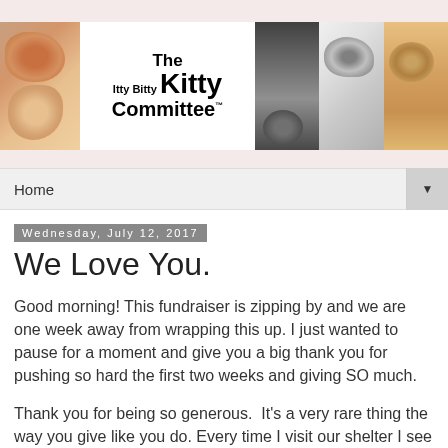[Figure (photo): The Itty Bitty Kitty Committee website header banner with cat photos and logo]
Home
Wednesday, July 12, 2017
We Love You.
Good morning! This fundraiser is zipping by and we are one week away from wrapping this up. I just wanted to pause for a moment and give you a big thank you for pushing so hard the first two weeks and giving SO much.
Thank you for being so generous.  It's a very rare thing the way you give like you do. Every time I visit our shelter I see first hand the good that our donations have done. I see the improvements that were made, the tools that...